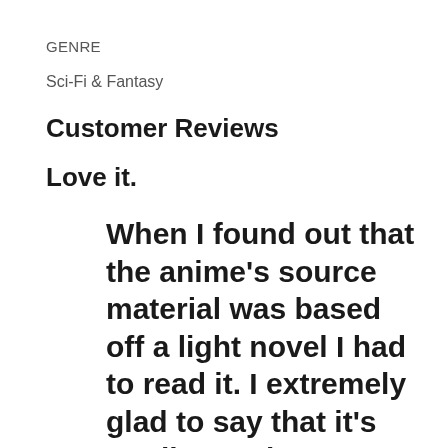GENRE
Sci-Fi & Fantasy
Customer Reviews
Love it.
When I found out that the anime's source material was based off a light novel I had to read it. I extremely glad to say that it's totally worth my money. I find myself losing track of countless